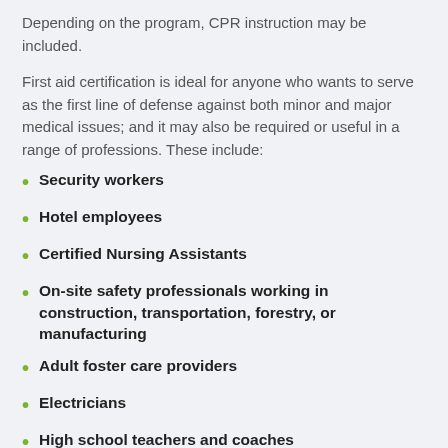Depending on the program, CPR instruction may be included.
First aid certification is ideal for anyone who wants to serve as the first line of defense against both minor and major medical issues; and it may also be required or useful in a range of professions. These include:
Security workers
Hotel employees
Certified Nursing Assistants
On-site safety professionals working in construction, transportation, forestry, or manufacturing
Adult foster care providers
Electricians
High school teachers and coaches
Home health care aides